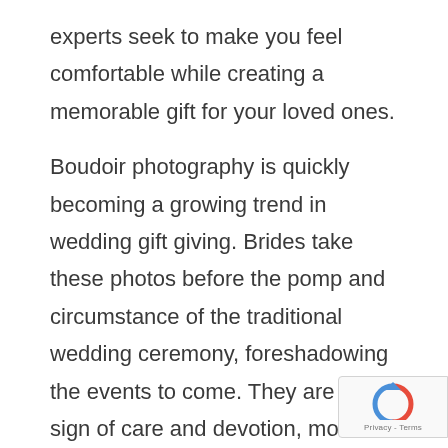experts seek to make you feel comfortable while creating a memorable gift for your loved ones.
Boudoir photography is quickly becoming a growing trend in wedding gift giving. Brides take these photos before the pomp and circumstance of the traditional wedding ceremony, foreshadowing the events to come. They are a sign of care and devotion, more formal than the canny post-wedding night photos that are also becoming popular.
Kelly Tareski is an award-winning photographer with a wealth of experience